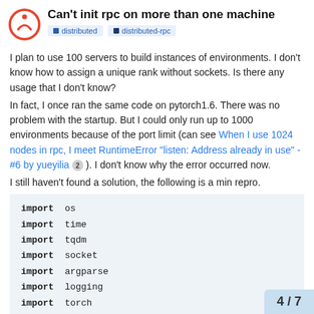Can't init rpc on more than one machine
I plan to use 100 servers to build instances of environments. I don't know how to assign a unique rank without sockets. Is there any usage that I don't know?
In fact, I once ran the same code on pytorch1.6. There was no problem with the startup. But I could only run up to 1000 environments because of the port limit (can see When I use 1024 nodes in rpc, I meet RuntimeError "listen: Address already in use" - #6 by yueyilia 2 ). I don't know why the error occurred now.
I still haven't found a solution, the following is a min repro.
import os
import time
import tqdm
import socket
import argparse
import logging
import torch
import torch.multiprocessing as
import torch.distributed
4 / 7